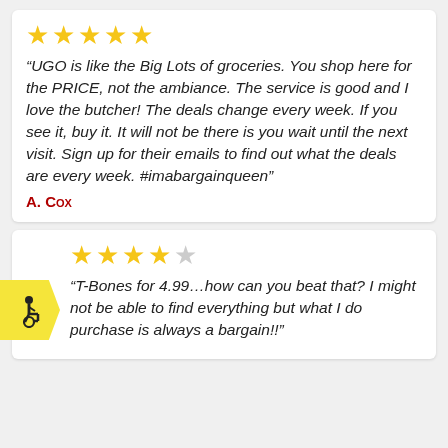[Figure (other): Five gold stars rating]
“UGO is like the Big Lots of groceries. You shop here for the PRICE, not the ambiance. The service is good and I love the butcher! The deals change every week. If you see it, buy it. It will not be there is you wait until the next visit. Sign up for their emails to find out what the deals are every week. #imabargainqueen”
A. Cox
[Figure (other): Four gold stars and one grey star rating]
[Figure (other): Accessibility wheelchair symbol badge in yellow]
“T-Bones for 4.99…how can you beat that? I might not be able to find everything but what I do purchase is always a bargain!!”